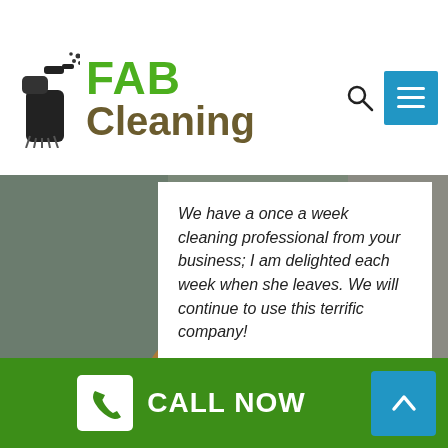[Figure (logo): FAB Cleaning logo with spray bottle icon, green FAB text and olive Cleaning text]
We have a once a week cleaning professional from your business; I am delighted each week when she leaves. We will continue to use this terrific company!
Robert Ackerman
June 27, 2018
CALL NOW